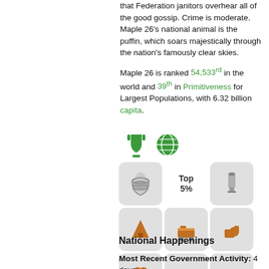that Federation janitors overhear all of the good gossip. Crime is moderate. Maple 26's national animal is the puffin, which soars majestically through the nation's famously clear skies.
Maple 26 is ranked 54,533rd in the world and 39th in Primitiveness for Largest Populations, with 6.32 billion capita.
[Figure (infographic): Trophy and globe icons followed by a 3x5 grid of nation stats icons including eggs, bottle, tree, mining cart, food, people, cocktail, truck, lock, satellite, filing cabinet, wine glass, basket. Labels 'Top 5%' and 'Top 10%' appear in grid cells.]
National Happenings
Most Recent Government Activity: 4 days